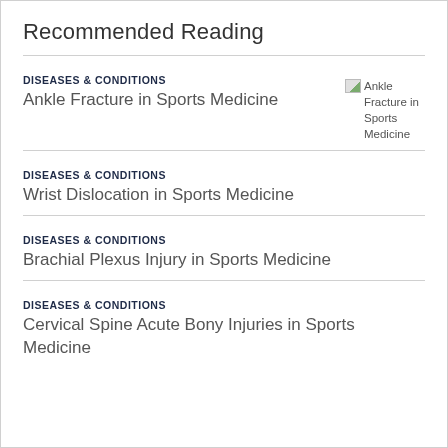Recommended Reading
DISEASES & CONDITIONS
Ankle Fracture in Sports Medicine
[Figure (other): Broken image placeholder for Ankle Fracture in Sports Medicine]
DISEASES & CONDITIONS
Wrist Dislocation in Sports Medicine
DISEASES & CONDITIONS
Brachial Plexus Injury in Sports Medicine
DISEASES & CONDITIONS
Cervical Spine Acute Bony Injuries in Sports Medicine